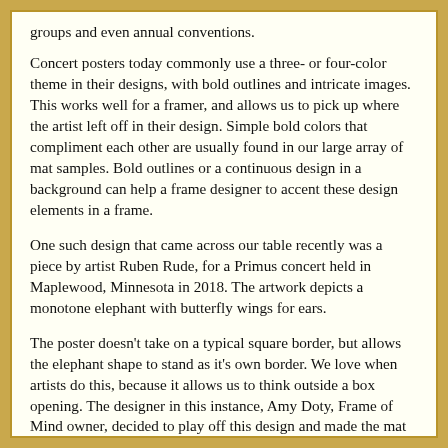groups and even annual conventions.
Concert posters today commonly use a three- or four-color theme in their designs, with bold outlines and intricate images. This works well for a framer, and allows us to pick up where the artist left off in their design. Simple bold colors that compliment each other are usually found in our large array of mat samples. Bold outlines or a continuous design in a background can help a frame designer to accent these design elements in a frame.
One such design that came across our table recently was a piece by artist Ruben Rude, for a Primus concert held in Maplewood, Minnesota in 2018. The artwork depicts a monotone elephant with butterfly wings for ears.
The poster doesn't take on a typical square border, but allows the elephant shape to stand as it's own border. We love when artists do this, because it allows us to think outside a box opening. The designer in this instance, Amy Doty, Frame of Mind owner, decided to play off this design and made the mat